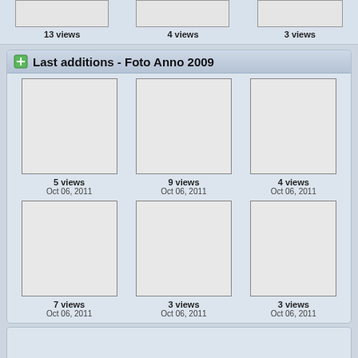13 views
4 views
3 views
Last additions - Foto Anno 2009
[Figure (photo): Thumbnail placeholder image 1]
5 views
Oct 06, 2011
[Figure (photo): Thumbnail placeholder image 2]
9 views
Oct 06, 2011
[Figure (photo): Thumbnail placeholder image 3]
4 views
Oct 06, 2011
[Figure (photo): Thumbnail placeholder image 4]
7 views
Oct 06, 2011
[Figure (photo): Thumbnail placeholder image 5]
3 views
Oct 06, 2011
[Figure (photo): Thumbnail placeholder image 6]
3 views
Oct 06, 2011
Powered by Coppermine Photo Gallery